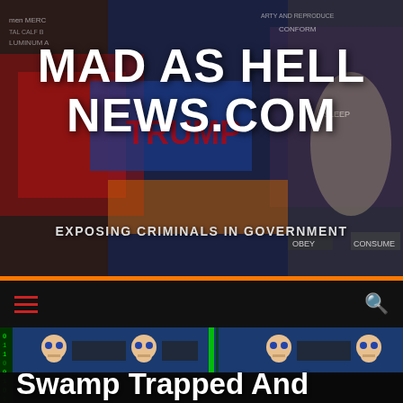[Figure (photo): Website header banner with collage background showing political rally signs and protest imagery]
MAD AS HELL NEWS.COM
EXPOSING CRIMINALS IN GOVERNMENT
[Figure (screenshot): Navigation bar with hamburger menu icon on left and search icon on right, on dark background]
[Figure (photo): Skull emoji decorative strip with blue background]
Swamp Trapped And Drained
[Figure (photo): Dark gray content image area with orange back-to-top button]